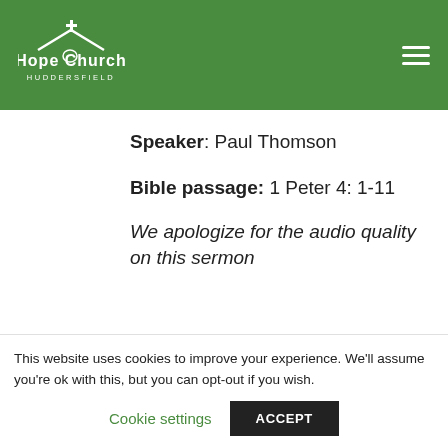[Figure (logo): Hope Church Huddersfield logo in white on green background, with church building silhouette and text]
Speaker: Paul Thomson
Bible passage: 1 Peter 4: 1-11
We apologize for the audio quality on this sermon
This website uses cookies to improve your experience. We'll assume you're ok with this, but you can opt-out if you wish.
Cookie settings
ACCEPT